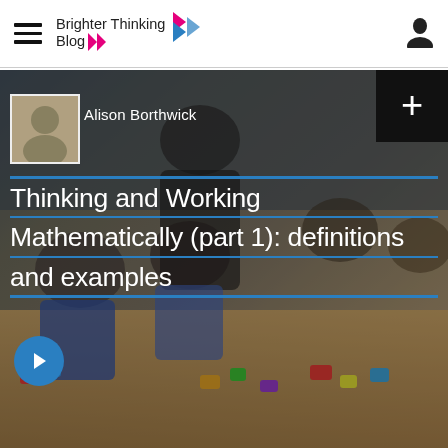Brighter Thinking Blog
[Figure (photo): Classroom scene showing children and a teacher working with colorful manipulatives and educational toys at a table]
Alison Borthwick
Thinking and Working Mathematically (part 1): definitions and examples